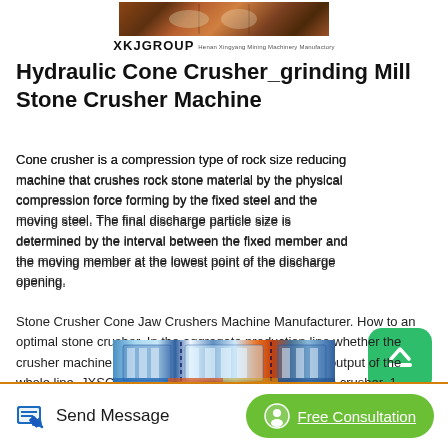[Figure (photo): XKJGROUP logo banner with mining machinery photo and brand name text]
Hydraulic Cone Crusher_grinding Mill Stone Crusher Machine
Cone crusher is a compression type of rock size reducing machine that crushes rock stone material by the physical compression force forming by the fixed steel and the moving steel. The final discharge particle size is determined by the interval between the fixed member and the moving member at the lowest point of the discharge opening.
Stone Crusher Cone Jaw Crushers Machine Manufacturer. How to an optimal stone crusher. In the aggregate production line whether the crusher machine is suitable or not that determines the output of the whole line. JXSC can help you choose an optimal stone crusher. 1. Crushing demand You dont blindly consult the price of equipment.
[Figure (photo): Partial image of stone crusher machinery shown at bottom of content area]
Send Message   Free Consultation